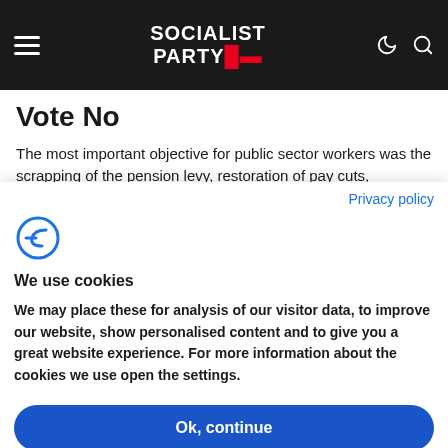Socialist Party
Vote No
The most important objective for public sector workers was the scrapping of the pension levy, restoration of pay cuts, protection of pensions and terms and conditions. None of these objectives are met by this rotten deal
Privacy policy
[Figure (logo): Complianz cookie consent logo - stylized C with dash]
We use cookies
We may place these for analysis of our visitor data, to improve our website, show personalised content and to give you a great website experience. For more information about the cookies we use open the settings.
Ok, continue
Deny
No, adjust